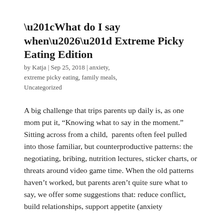“What do I say when…” Extreme Picky Eating Edition
by Katja | Sep 25, 2018 | anxiety, extreme picky eating, family meals, Uncategorized
A big challenge that trips parents up daily is, as one mom put it, “Knowing what to say in the moment.” Sitting across from a child,  parents often feel pulled into those familiar, but counterproductive patterns: the negotiating, bribing, nutrition lectures, sticker charts, or threats around video game time. When the old patterns haven’t worked, but parents aren’t quite sure what to say, we offer some suggestions that: reduce conflict, build relationships, support appetite (anxiety